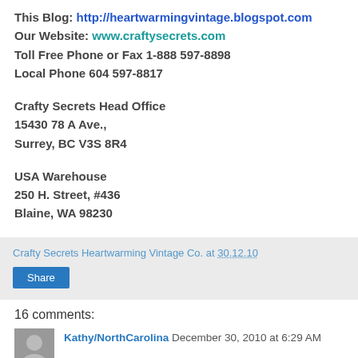This Blog: http://heartwarmingvintage.blogspot.com
Our Website: www.craftysecrets.com
Toll Free Phone or Fax 1-888 597-8898
Local Phone 604 597-8817
Crafty Secrets Head Office
15430 78 A Ave.,
Surrey, BC V3S 8R4
USA Warehouse
250 H. Street, #436
Blaine, WA 98230
Crafty Secrets Heartwarming Vintage Co. at 30.12.10
Share
16 comments:
Kathy/NorthCarolina December 30, 2010 at 6:29 AM